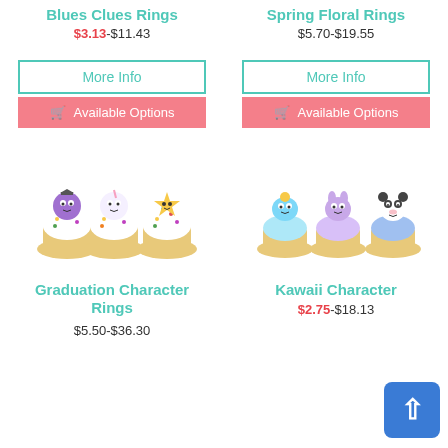Blues Clues Rings
$3.13-$11.43
Spring Floral Rings
$5.70-$19.55
More Info
Available Options
More Info
Available Options
[Figure (photo): Three cupcakes decorated with colorful sprinkle-covered character rings — a purple creature, a white unicorn, and a yellow star character, on white frosted cupcakes with gold foil wrappers]
[Figure (photo): Three cupcakes with blue sprinkle frosting decorated with kawaii character rings — a blue cloud creature, a purple bear/bunny, and a blue panda, on white frosted cupcakes with gold foil wrappers]
Graduation Character Rings
$5.50-$36.30
Kawaii Character
$2.75-$18.13